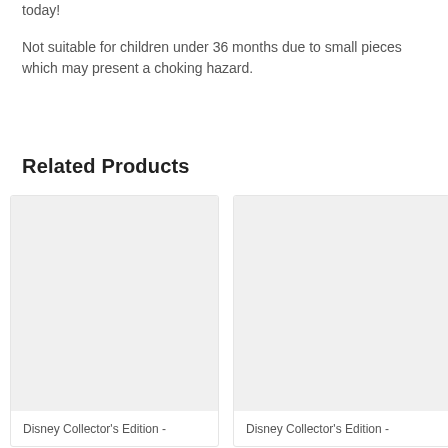today!
Not suitable for children under 36 months due to small pieces which may present a choking hazard.
Related Products
[Figure (other): Product card placeholder image for Disney Collector's Edition item 1]
Disney Collector's Edition -
[Figure (other): Product card placeholder image for Disney Collector's Edition item 2]
Disney Collector's Edition -